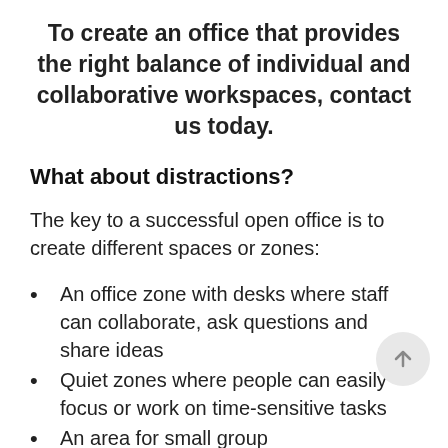To create an office that provides the right balance of individual and collaborative workspaces, contact us today.
What about distractions?
The key to a successful open office is to create different spaces or zones:
An office zone with desks where staff can collaborate, ask questions and share ideas
Quiet zones where people can easily focus or work on time-sensitive tasks
An area for small group...